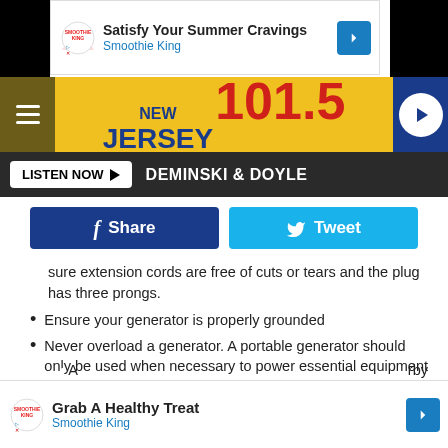[Figure (screenshot): Smoothie King advertisement banner: 'Satisfy Your Summer Cravings / Smoothie King']
[Figure (logo): New Jersey 101.5 radio station header with hamburger menu, yellow logo banner, and play button]
[Figure (screenshot): Listen Now button and DEMINSKI & DOYLE show name bar]
[Figure (screenshot): Facebook Share and Twitter Tweet social buttons]
sure extension cords are free of cuts or tears and the plug has three prongs.
Ensure your generator is properly grounded
Never overload a generator. A portable generator should only be used when necessary to power essential equipment or appliances
Turn off all equipment powered by a generator before shutting it down
Keep the generator dry. Operate it on a dry surface
A ... rby
[Figure (screenshot): Smoothie King advertisement banner: 'Grab A Healthy Treat / Smoothie King']